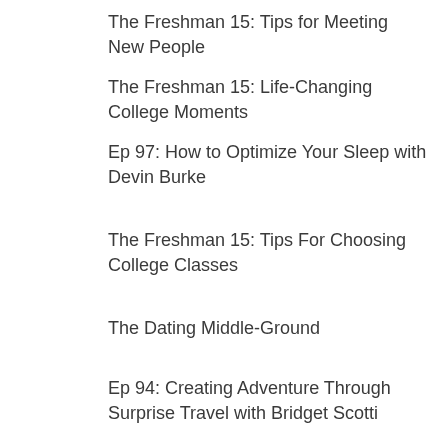The Freshman 15: Tips for Meeting New People
The Freshman 15: Life-Changing College Moments
Ep 97: How to Optimize Your Sleep with Devin Burke
The Freshman 15: Tips For Choosing College Classes
The Dating Middle-Ground
Ep 94: Creating Adventure Through Surprise Travel with Bridget Scotti
The Freshman 15: Advice From Readers (Year 3)
Central Florida on a Dime: 5 Adventures Under $20
10 Hidden Gems in Central Florida To Visit in the New Year